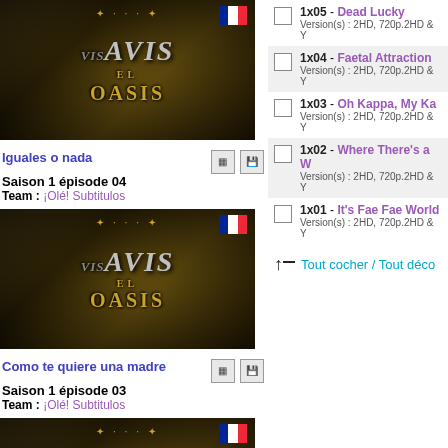[Figure (screenshot): Vis-a-Vis El Oasis show thumbnail with French flag, episode 04]
Iguales o nada
Saison 1 épisode 04
Team : ¡Olé! Subtitulos
[Figure (screenshot): Vis-a-Vis El Oasis show thumbnail with French flag, episode 03]
Como te quiere una madre
Saison 1 épisode 03
Team : ¡Olé! Subtitulos
[Figure (screenshot): Vis-a-Vis El Oasis show thumbnail with French flag, episode 02]
La boda
Saison 1 épisode 02
Team : ¡Olé! Subtitulos
1x05 - Dead Lucky
Version(s) : 2HD, 720p.2HD & Y
1x04 - Faetal Attraction
Version(s) : 2HD, 720p.2HD & Y
1x03 - Oh Kappa, My Ka
Version(s) : 2HD, 720p.2HD & Y
1x02 - Where There's a W
Version(s) : 2HD, 720p.2HD & Y
1x01 - It's Fae Fae World
Version(s) : 2HD, 720p.2HD & Y
Tout cocher / Tout déco